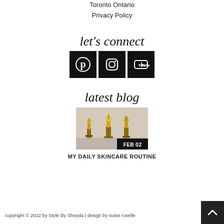Toronto Ontario
Privacy Policy
let's connect
[Figure (illustration): Three social media icon buttons (Pinterest, Instagram, YouTube) on black square backgrounds]
latest blog
[Figure (photo): Skincare product display with golden dispensers/bottles on stands, with a FEB 02 date badge overlay]
MY DAILY SKINCARE ROUTINE
copyright © 2022 by Style By Sheyda | design by susie roselle